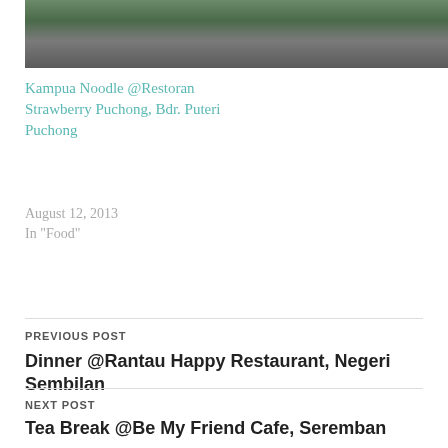[Figure (photo): Street-level photo of a restaurant shophouse exterior, partially cropped at top]
Kampua Noodle @Restoran Strawberry Puchong, Bdr. Puteri Puchong
August 12, 2013
In "Food"
PREVIOUS POST
Dinner @Rantau Happy Restaurant, Negeri Sembilan
NEXT POST
Tea Break @Be My Friend Cafe, Seremban
4 THOUGHTS ON "VIETNAMESE LUNCH @MOTHER DUNG RESTAURANT, SEREMBAN"